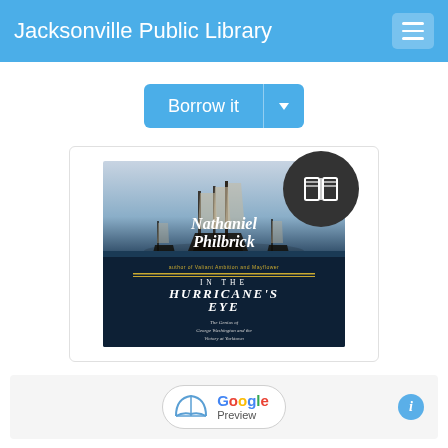Jacksonville Public Library
[Figure (screenshot): Borrow it button with dropdown arrow in blue]
[Figure (photo): Book cover of 'In the Hurricane's Eye: The Genius of George Washington and the Victory at Yorktown' by Nathaniel Philbrick, with a dark book/reading badge overlay in the upper right]
[Figure (screenshot): Google Preview button with open book icon and info circle on the right]
In the hurricane's eye : the genius of George Washington and the victory at Yorktown.